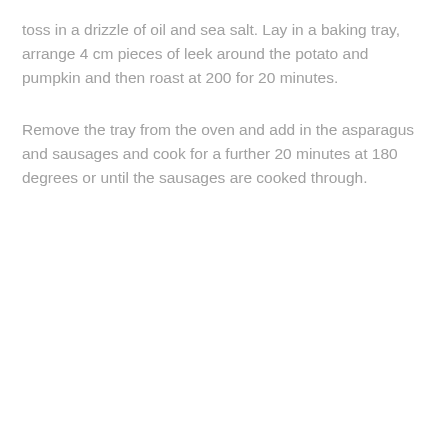toss in a drizzle of oil and sea salt. Lay in a baking tray, arrange 4 cm pieces of leek around the potato and pumpkin and then roast at 200 for 20 minutes.
Remove the tray from the oven and add in the asparagus and sausages and cook for a further 20 minutes at 180 degrees or until the sausages are cooked through.